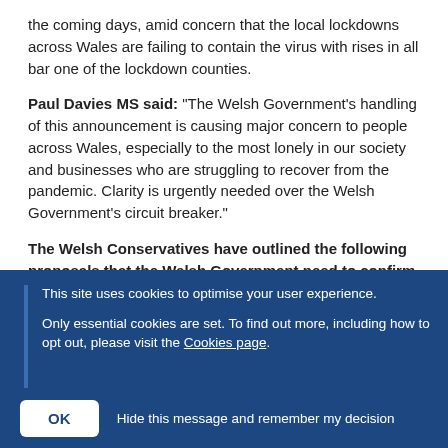the coming days, amid concern that the local lockdowns across Wales are failing to contain the virus with rises in all bar one of the lockdown counties.
Paul Davies MS said: "The Welsh Government's handling of this announcement is causing major concern to people across Wales, especially to the most lonely in our society and businesses who are struggling to recover from the pandemic. Clarity is urgently needed over the Welsh Government's circuit breaker."
The Welsh Conservatives have outlined the following proposals that the Welsh Government need to confirm in
This site uses cookies to optimise your user experience.
Only essential cookies are set. To find out more, including how to opt out, please visit the Cookies page.
OK   Hide this message and remember my decision